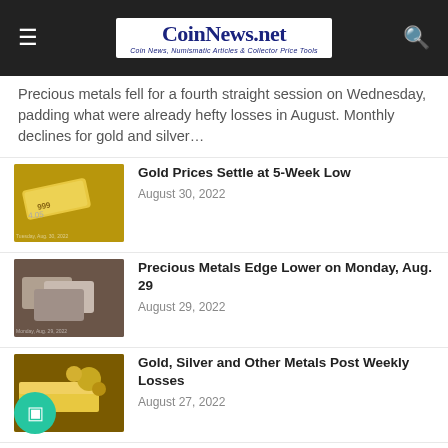CoinNews.net — Coin News, Numismatic Articles & Collector Price Tools
Precious metals fell for a fourth straight session on Wednesday, padding what were already hefty losses in August. Monthly declines for gold and silver…
[Figure (photo): Gold bar with silver coins, price label showing 4.05]
Gold Prices Settle at 5-Week Low
August 30, 2022
[Figure (photo): Silver bullion bars stacked together]
Precious Metals Edge Lower on Monday, Aug. 29
August 29, 2022
[Figure (photo): Gold bars and nuggets with other metals]
Gold, Silver and Other Metals Post Weekly Losses
August 27, 2022
[Figure (photo): Silver bars/coins on red background]
Precious Metals Gain on Thursday, Aug. 25